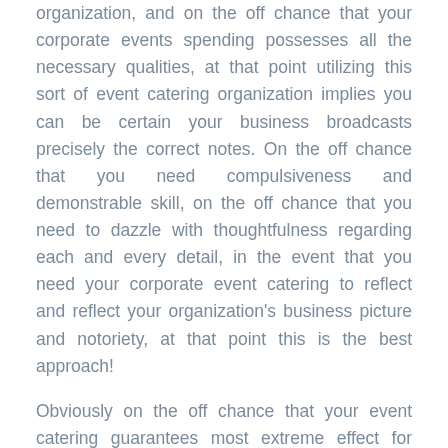organization, and on the off chance that your corporate events spending possesses all the necessary qualities, at that point utilizing this sort of event catering organization implies you can be certain your business broadcasts precisely the correct notes. On the off chance that you need compulsiveness and demonstrable skill, on the off chance that you need to dazzle with thoughtfulness regarding each and every detail, in the event that you need your corporate event catering to reflect and reflect your organization's business picture and notoriety, at that point this is the best approach!
Obviously on the off chance that your event catering guarantees most extreme effect for your organization, at that point each and every one of your visitors leaves your event feeling that they have been cared for in the absolute best of ways corporate catering miami. Not exclusively will they have eaten the most spectacular nourishment, and inspected the